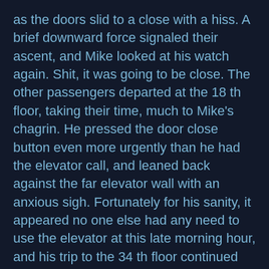as the doors slid to a close with a hiss. A brief downward force signaled their ascent, and Mike looked at his watch again. Shit, it was going to be close. The other passengers departed at the 18 th floor, taking their time, much to Mike's chagrin. He pressed the door close button even more urgently than he had the elevator call, and leaned back against the far elevator wall with an anxious sigh. Fortunately for his sanity, it appeared no one else had any need to use the elevator at this late morning hour, and his trip to the 34 th floor continued uninterrupted.
The doors opened and Mike flew out frantically, briskly heading towards his office to grab the collection of charts and mock-ups for the new campaign.
“Oh, Mr. Turner, I’m so glad you’re here! They’re waiting for you in the conference room! Oh my, are you all right?